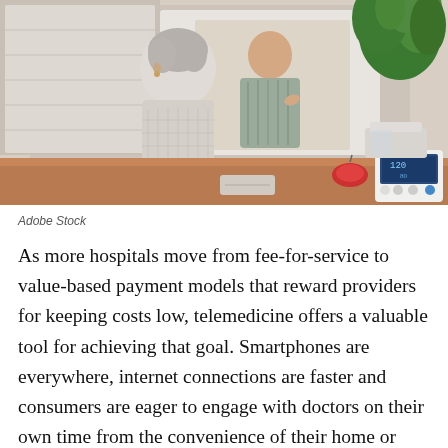[Figure (photo): Elderly woman seen from behind, sitting at a desk doing a video call with a doctor on a computer monitor. A blood pressure monitor is on the desk to the right. A green plant is visible in the upper right corner.]
Adobe Stock
As more hospitals move from fee-for-service to value-based payment models that reward providers for keeping costs low, telemedicine offers a valuable tool for achieving that goal. Smartphones are everywhere, internet connections are faster and consumers are eager to engage with doctors on their own time from the convenience of their home or office. According to the American Telemedicine Association, more than 15